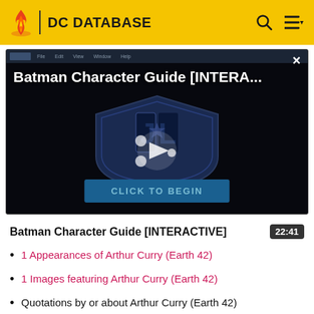DC DATABASE
[Figure (screenshot): Video thumbnail showing Batman Character Guide [INTERA...] with a Justice League shield logo and play button, plus a CLICK TO BEGIN button at the bottom]
Batman Character Guide [INTERACTIVE]  22:41
1 Appearances of Arthur Curry (Earth 42)
1 Images featuring Arthur Curry (Earth 42)
Quotations by or about Arthur Curry (Earth 42)